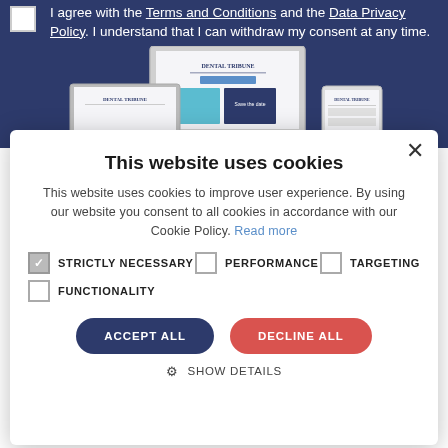I agree with the Terms and Conditions and the Data Privacy Policy. I understand that I can withdraw my consent at any time.
[Figure (screenshot): Dental Tribune website shown on multiple devices: desktop monitor, laptop, tablet, and phone]
This website uses cookies
This website uses cookies to improve user experience. By using our website you consent to all cookies in accordance with our Cookie Policy. Read more
STRICTLY NECESSARY
PERFORMANCE
TARGETING
FUNCTIONALITY
ACCEPT ALL
DECLINE ALL
SHOW DETAILS